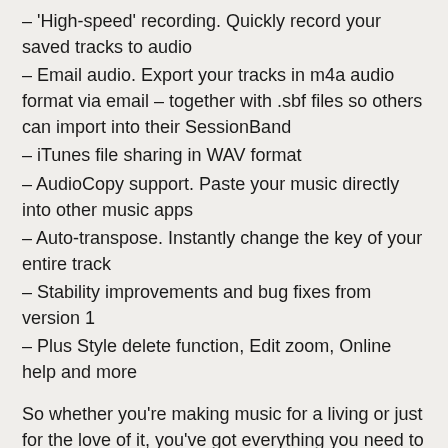– 'High-speed' recording. Quickly record your saved tracks to audio
– Email audio. Export your tracks in m4a audio format via email – together with .sbf files so others can import into their SessionBand
– iTunes file sharing in WAV format
– AudioCopy support. Paste your music directly into other music apps
– Auto-transpose. Instantly change the key of your entire track
– Stability improvements and bug fixes from version 1
– Plus Style delete function, Edit zoom, Online help and more
So whether you're making music for a living or just for the love of it, you've got everything you need to create, play, practice, jam and share in one amazing app.